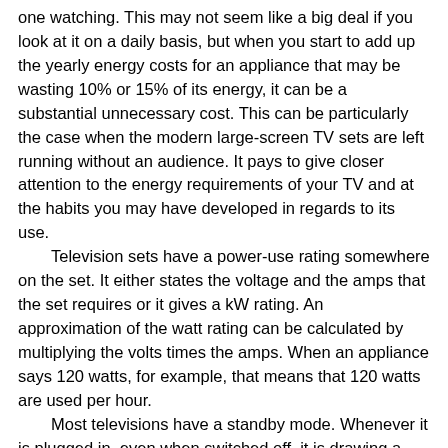one watching. This may not seem like a big deal if you look at it on a daily basis, but when you start to add up the yearly energy costs for an appliance that may be wasting 10% or 15% of its energy, it can be a substantial unnecessary cost. This can be particularly the case when the modern large-screen TV sets are left running without an audience. It pays to give closer attention to the energy requirements of your TV and at the habits you may have developed in regards to its use.
    Television sets have a power-use rating somewhere on the set. It either states the voltage and the amps that the set requires or it gives a kW rating. An approximation of the watt rating can be calculated by multiplying the volts times the amps. When an appliance says 120 watts, for example, that means that 120 watts are used per hour.
    Most televisions have a standby mode. Whenever it is plugged in, even when switched off, it is drawing a small amount of energy. This is for such features as instant-on, a dubious advantage at best. I circumvent this wasted energy by use of switched power strips or by means of electrical receptacles that are controlled by a switch.
    I have a 32 inch LCD television/monitor that uses 55 watts. This is in my living room. I also have a 20 inch LCD TV/Monitor in my bedroom. It uses 60 watts (80 watt rated). In addition to these two, I have a 9 inch widescreen all-in-one DVD player that uses 14 watts. This gives me choices depending on how much energy is available. In my solar energy